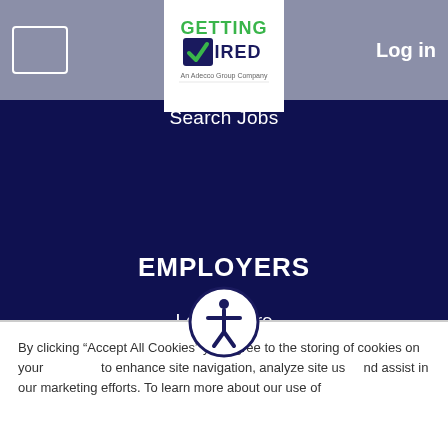Getting Hired - An Adecco Group Company | Log in
Search Jobs
EMPLOYERS
Learn More
Post a Job
Search Resumes
PRIVACY
By clicking “Accept All Cookies” you agree to the storing of cookies on your device to enhance site navigation, analyze site usage, and assist in our marketing efforts. To learn more about our use of